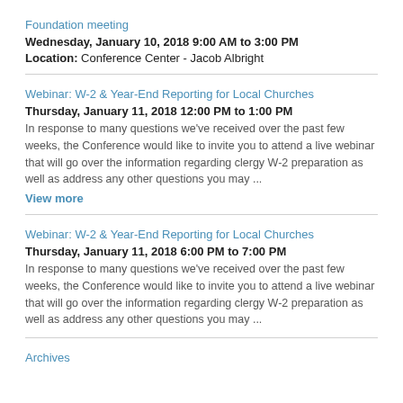Foundation meeting
Wednesday, January 10, 2018 9:00 AM to 3:00 PM
Location: Conference Center - Jacob Albright
Webinar: W-2 & Year-End Reporting for Local Churches
Thursday, January 11, 2018 12:00 PM to 1:00 PM
In response to many questions we've received over the past few weeks, the Conference would like to invite you to attend a live webinar that will go over the information regarding clergy W-2 preparation as well as address any other questions you may ...
View more
Webinar: W-2 & Year-End Reporting for Local Churches
Thursday, January 11, 2018 6:00 PM to 7:00 PM
In response to many questions we've received over the past few weeks, the Conference would like to invite you to attend a live webinar that will go over the information regarding clergy W-2 preparation as well as address any other questions you may ...
Archives